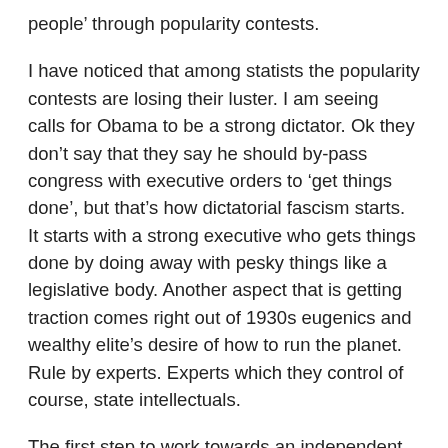people' through popularity contests.
I have noticed that among statists the popularity contests are losing their luster. I am seeing calls for Obama to be a strong dictator. Ok they don't say that they say he should by-pass congress with executive orders to 'get things done', but that's how dictatorial fascism starts. It starts with a strong executive who gets things done by doing away with pesky things like a legislative body. Another aspect that is getting traction comes right out of 1930s eugenics and wealthy elite's desire of how to run the planet. Rule by experts. Experts which they control of course, state intellectuals.
The first step to work towards an independent, educated, and moral population is undo the damage of the last 100 years of statism, which